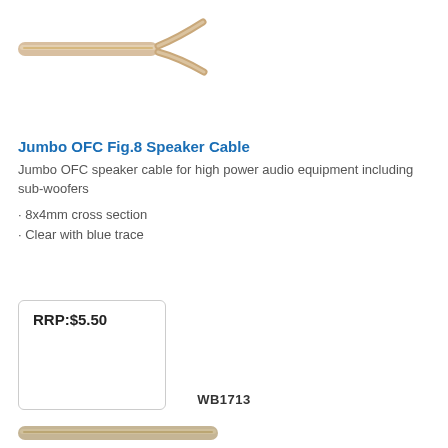[Figure (photo): Close-up photo of a clear figure-8 speaker cable with two conductors splitting apart at one end, showing transparent insulation with copper wires inside.]
Jumbo OFC Fig.8 Speaker Cable
Jumbo OFC speaker cable for high power audio equipment including sub-woofers
8x4mm cross section
Clear with blue trace
RRP:$5.50
WB1713
[Figure (photo): Partial photo of another cable product at the bottom edge of the page.]